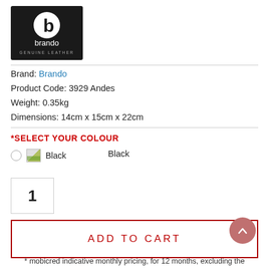[Figure (logo): Brando Genuine Leather logo: black square with white lowercase b icon and 'brando' text, 'GENUINE LEATHER' subtitle]
Brand: Brando
Product Code: 3929 Andes
Weight: 0.35kg
Dimensions: 14cm x 15cm x 22cm
*SELECT YOUR COLOUR
Black   Black
1
ADD TO CART
* mobicred indicative monthly pricing, for 12 months, excluding the